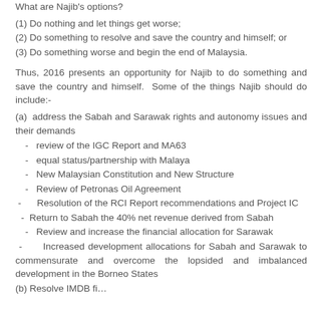What are Najib's options?
(1) Do nothing and let things get worse;
(2) Do something to resolve and save the country and himself; or
(3) Do something worse and begin the end of Malaysia.
Thus, 2016 presents an opportunity for Najib to do something and save the country and himself. Some of the things Najib should do include:-
(a) address the Sabah and Sarawak rights and autonomy issues and their demands
- review of the IGC Report and MA63
- equal status/partnership with Malaya
- New Malaysian Constitution and New Structure
- Review of Petronas Oil Agreement
- Resolution of the RCI Report recommendations and Project IC
- Return to Sabah the 40% net revenue derived from Sabah
- Review and increase the financial allocation for Sarawak
- Increased development allocations for Sabah and Sarawak to commensurate and overcome the lopsided and imbalanced development in the Borneo States
(b) Resolve IMDB fi...